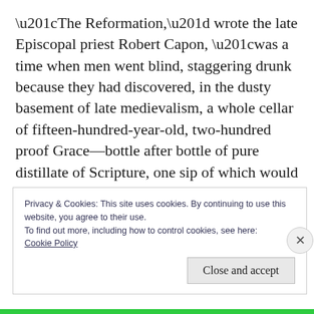“The Reformation,” wrote the late Episcopal priest Robert Capon, “was a time when men went blind, staggering drunk because they had discovered, in the dusty basement of late medievalism, a whole cellar of fifteen-hundred-year-old, two-hundred proof Grace—bottle after bottle of pure distillate of Scripture, one sip of which would convince anyone that God saves us singlehandedly.”
Privacy & Cookies: This site uses cookies. By continuing to use this website, you agree to their use.
To find out more, including how to control cookies, see here: Cookie Policy
Close and accept